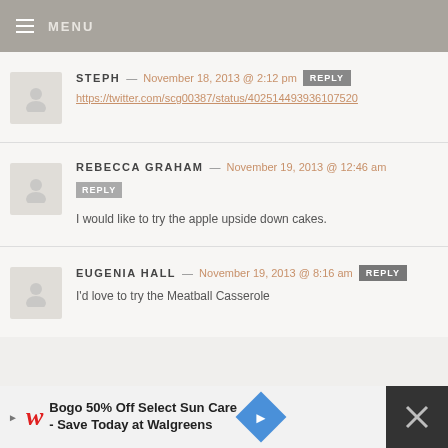MENU
STEPH — November 18, 2013 @ 2:12 pm
https://twitter.com/scg00387/status/402514493936107520
REBECCA GRAHAM — November 19, 2013 @ 12:46 am
I would like to try the apple upside down cakes.
EUGENIA HALL — November 19, 2013 @ 8:16 am
I'd love to try the Meatball Casserole
[Figure (infographic): Advertisement banner: Walgreens Bogo 50% Off Select Sun Care - Save Today at Walgreens]